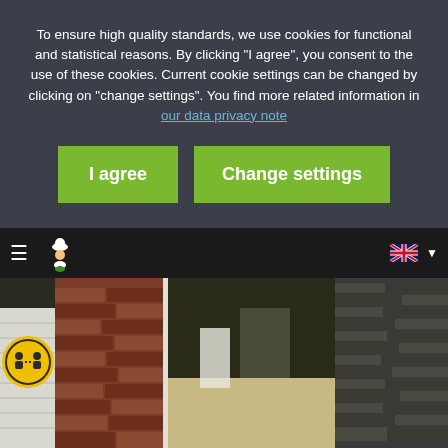To ensure high quality standards, we use cookies for functional and statistical reasons. By clicking "I agree", you consent to the use of these cookies. Current cookie settings can be changed by clicking on "change settings". You find more related information in our data privacy note
[Figure (screenshot): Cookie consent overlay with two green buttons: 'I agree' and 'Change settings']
[Figure (screenshot): Restaurant website navigation bar with hamburger menu, chef logo, UK flag and dropdown arrow. Below is a photo of a brick-walled outdoor passageway/alley of a restaurant with stone paving.]